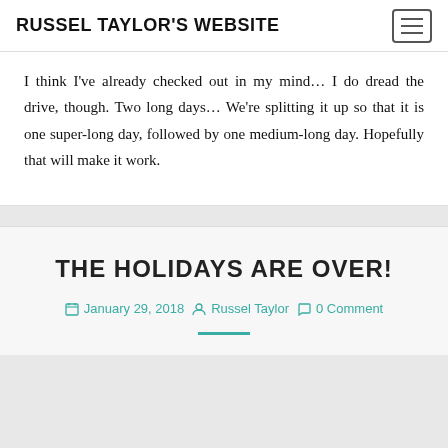RUSSEL TAYLOR'S WEBSITE
I think I've already checked out in my mind... I do dread the drive, though. Two long days... We're splitting it up so that it is one super-long day, followed by one medium-long day. Hopefully that will make it work.
THE HOLIDAYS ARE OVER!
January 29, 2018  Russel Taylor  0 Comment